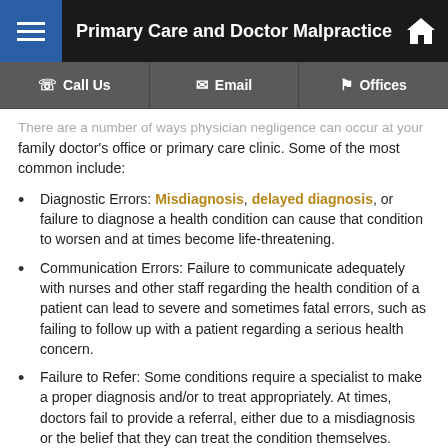Primary Care and Doctor Malpractice
There are a number of ways physician negligence can occur at your family doctor's office or primary care clinic. Some of the most common include:
Diagnostic Errors: Misdiagnosis, delayed diagnosis, or failure to diagnose a health condition can cause that condition to worsen and at times become life-threatening.
Communication Errors: Failure to communicate adequately with nurses and other staff regarding the health condition of a patient can lead to severe and sometimes fatal errors, such as failing to follow up with a patient regarding a serious health concern.
Failure to Refer: Some conditions require a specialist to make a proper diagnosis and/or to treat appropriately. At times, doctors fail to provide a referral, either due to a misdiagnosis or the belief that they can treat the condition themselves.
Medication Errors: Failure to prescribe the correct medication, which can sometimes cause serious health complications.